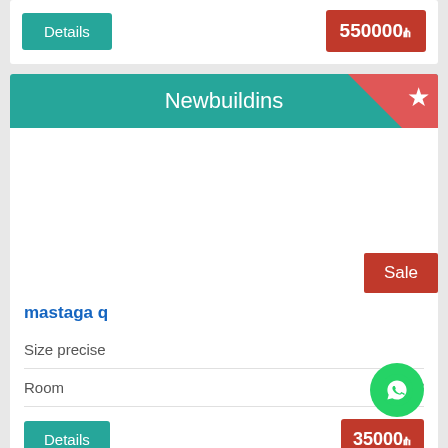Details
550000₼
Newbuildins
Sale
mastaga q
Size precise
Room
4  m²
Details
35000₼